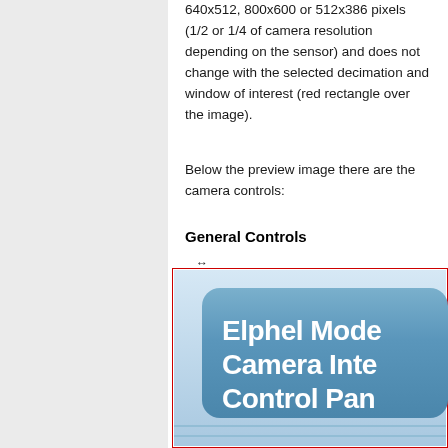640x512, 800x600 or 512x386 pixels (1/2 or 1/4 of camera resolution depending on the sensor) and does not change with the selected decimation and window of interest (red rectangle over the image).
Below the preview image there are the camera controls:
General Controls
[Figure (screenshot): Screenshot of Elphel Model Camera Interface Control Panel, showing a blue gradient UI panel with white bold text partially visible reading 'Elphel Mode Camera Inte Control Pan'. A red rectangle border is drawn around the image area. Resize arrows (horizontal and vertical) appear at top-left of the image.]